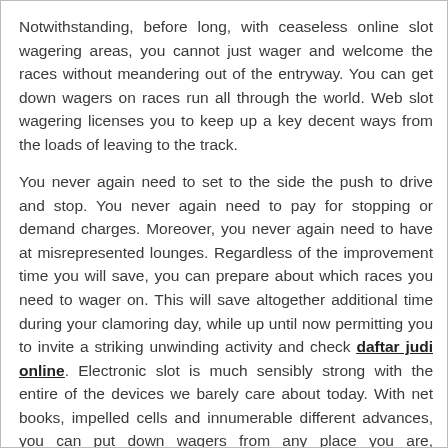Notwithstanding, before long, with ceaseless online slot wagering areas, you cannot just wager and welcome the races without meandering out of the entryway. You can get down wagers on races run all through the world. Web slot wagering licenses you to keep up a key decent ways from the loads of leaving to the track.
You never again need to set to the side the push to drive and stop. You never again need to pay for stopping or demand charges. Moreover, you never again need to have at misrepresented lounges. Regardless of the improvement time you will save, you can prepare about which races you need to wager on. This will save altogether additional time during your clamoring day, while up until now permitting you to invite a striking unwinding activity and check daftar judi online. Electronic slot is much sensibly strong with the entire of the devices we barely care about today. With net books, impelled cells and innumerable different advances, you can put down wagers from any place you are, regardless of whether that be hanging on for a work meeting or going in Timbuktu. Obviously, there are a few